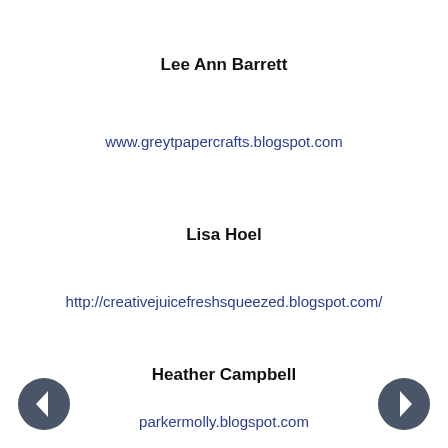Lee Ann Barrett
www.greytpapercrafts.blogspot.com
Lisa Hoel
http://creativejuicefreshsqueezed.blogspot.com/
Heather Campbell
parkermolly.blogspot.com